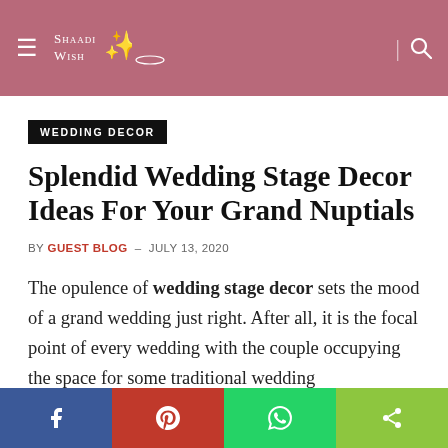Shaadi Wish
WEDDING DECOR
Splendid Wedding Stage Decor Ideas For Your Grand Nuptials
BY GUEST BLOG – JULY 13, 2020
The opulence of wedding stage decor sets the mood of a grand wedding just right. After all, it is the focal point of every wedding with the couple occupying the space for some traditional wedding...